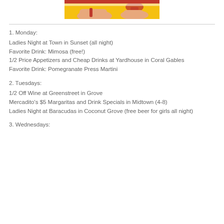[Figure (photo): Cropped photo showing two people toasting with drinks against a yellow background]
1. Monday:
Ladies Night at Town in Sunset (all night)
Favorite Drink: Mimosa (free!)
1/2 Price Appetizers and Cheap Drinks at Yardhouse in Coral Gables
Favorite Drink: Pomegranate Press Martini
2. Tuesdays:
1/2 Off Wine at Greenstreet in Grove
Mercadito's $5 Margaritas and Drink Specials in Midtown (4-8)
Ladies Night at Baracudas in Coconut Grove (free beer for girls all night)
3. Wednesdays: